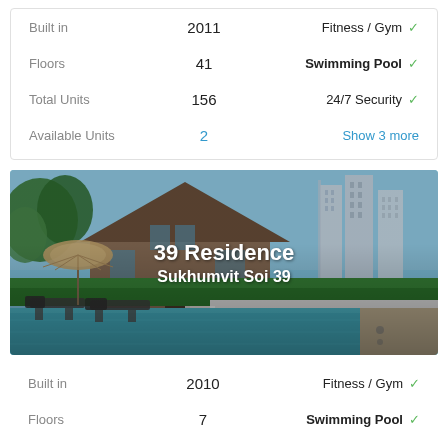| Property Info | Value | Amenities | Status |
| --- | --- | --- | --- |
| Built in | 2011 | Fitness / Gym | ✓ |
| Floors | 41 | Swimming Pool | ✓ |
| Total Units | 156 | 24/7 Security | ✓ |
| Available Units | 2 | Show 3 more |  |
[Figure (photo): Outdoor swimming pool with lounge chairs and umbrella, residential houses and high-rise condominiums in background, with lush green hedges]
39 Residence
Sukhumvit Soi 39
| Property Info | Value | Amenities | Status |
| --- | --- | --- | --- |
| Built in | 2010 | Fitness / Gym | ✓ |
| Floors | 7 | Swimming Pool | ✓ |